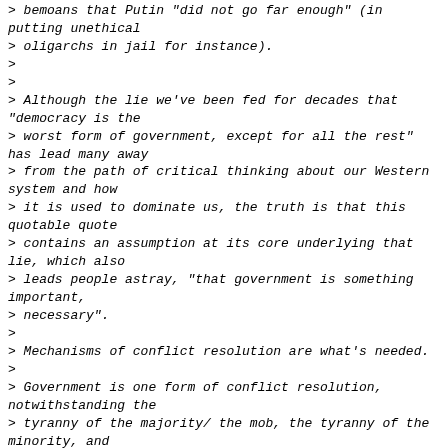> bemoans that Putin "did not go far enough" (in putting unethical
> oligarchs in jail for instance).
>
>
> Although the lie we've been fed for decades that "democracy is the
> worst form of government, except for all the rest" has lead many away
> from the path of critical thinking about our Western system and how
> it is used to dominate us, the truth is that this quotable quote
> contains an assumption at its core underlying that lie, which also
> leads people astray, "that government is something important,
> necessary".
>
> Mechanisms of conflict resolution are what's needed.
>
> Government is one form of conflict resolution, notwithstanding the
> tyranny of the majority/ the mob, the tyranny of the minority, and
> the usurpation of not only government, but any and every form of
> shared common delusion or collective concensus agreement - there are
> always problems to solve.